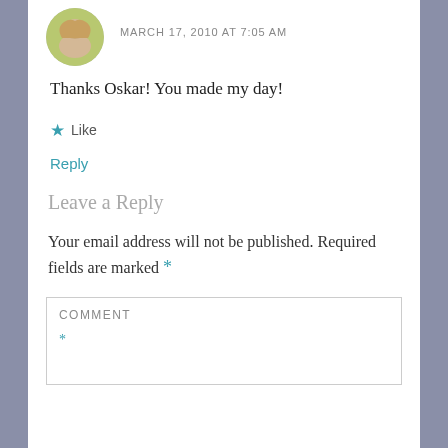MARCH 17, 2010 AT 7:05 AM
Thanks Oskar! You made my day!
★ Like
Reply
Leave a Reply
Your email address will not be published. Required fields are marked *
COMMENT
*